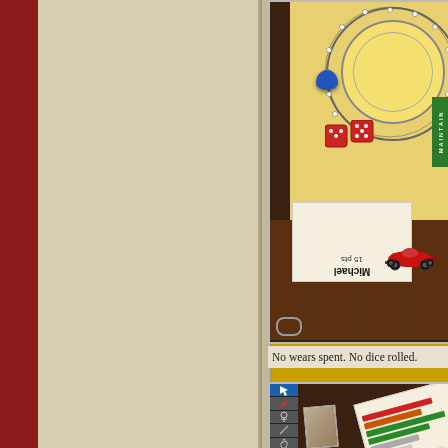[Figure (screenshot): Top portion of a board game screenshot showing a formula racing board game with a yellow game board, blue token piece, red dice, a green MAINTAIN card, score card showing 'Michael' and '15 pts' rotated 180 degrees, and a red F1 racing car piece on a dark wooden table surface. A chat bubble icon is visible at bottom left.]
No wears spent. No dice rolled.
[Figure (screenshot): Bottom portion of a board game interface showing a toolbar on the left with icons including a pointer/hand (active, blue), pencil, pin/marker, diagonal line, hand/gesture, and another tool. To the right is a dark wooden table with a score card visible at an angle showing colored bar chart rows in red, green, and gray/white, and what appears to be a card or tile being held.]